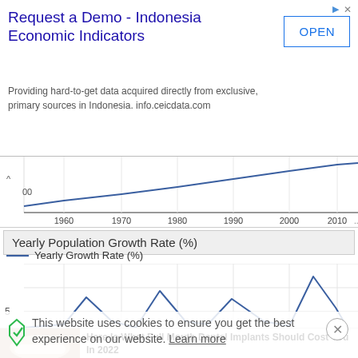[Figure (other): Advertisement banner: Request a Demo - Indonesia Economic Indicators with OPEN button]
[Figure (continuous-plot): Partial line chart showing population (absolute) over time from 1960 to 2010+, upward trending blue line]
Yearly Population Growth Rate (%)
— Yearly Growth Rate (%)
[Figure (continuous-plot): Line chart of Yearly Population Growth Rate (%) over time from 1960 to 2010+, oscillating blue line with peaks around 1970 and 2010+, y-axis label 5]
This website uses cookies to ensure you get the best experience on our website. Learn more
[Figure (photo): Photo of teeth/dental implants]
Here Is What Full Mouth Dental Implants Should Cost You In 2022
Sponsored by Branded Links